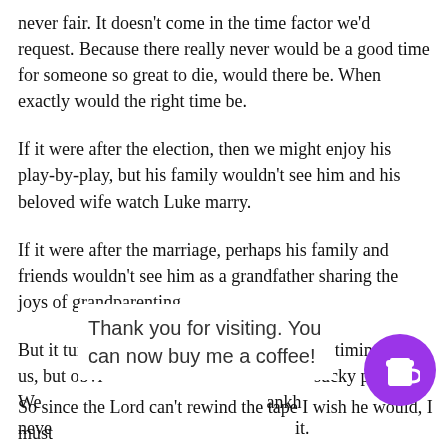never fair. It doesn't come in the time factor we'd request. Because there really never would be a good time for someone so great to die, would there be. When exactly would the right time be.
If it were after the election, then we might enjoy his play-by-play, but his family wouldn't see him and his beloved wife watch Luke marry.
If it were after the marriage, perhaps his family and friends wouldn't see him as a grandfather sharing the joys of grandparenting.
But it turned out, God called him now...bad timing for us, but obviously... sucky part. We... ankh... never... it.
Thank you for visiting. You can now buy me a coffee!
So since the Lord can't rewind the tape I wish he would, I must